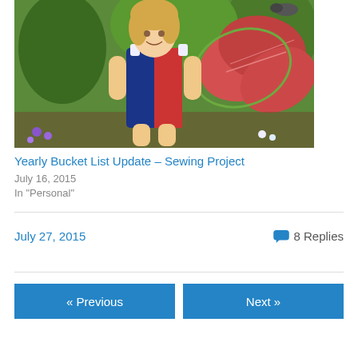[Figure (photo): Young toddler girl wearing a navy/red patterned sleeveless dress standing in a garden with large pink and green tropical leaves in the background]
Yearly Bucket List Update – Sewing Project
July 16, 2015
In "Personal"
July 27, 2015
8 Replies
« Previous
Next »